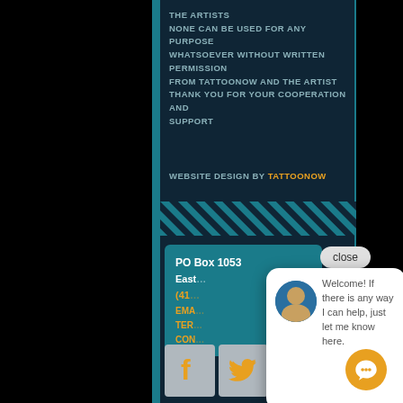THE ARTISTS NONE CAN BE USED FOR ANY PURPOSE WHATSOEVER WITHOUT WRITTEN PERMISSION FROM TATTOONOW AND THE ARTIST THANK YOU FOR YOUR COOPERATION AND SUPPORT
WEBSITE DESIGN BY TATTOONOW
[Figure (other): Diagonal teal stripes divider]
PO Box 1053
East...
(41...
EMA...
TER...
CON...
[Figure (screenshot): Chat popup with avatar and welcome message: Welcome! If there is any way I can help, just let me know here.]
[Figure (other): Social media icons: Facebook, Twitter, Instagram]
[Figure (other): Close button and orange chat icon button]